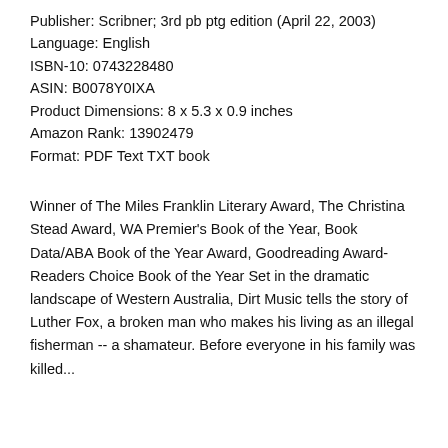Publisher: Scribner; 3rd pb ptg edition (April 22, 2003)
Language: English
ISBN-10: 0743228480
ASIN: B0078Y0IXA
Product Dimensions: 8 x 5.3 x 0.9 inches
Amazon Rank: 13902479
Format: PDF Text TXT book
Winner of The Miles Franklin Literary Award, The Christina Stead Award, WA Premier's Book of the Year, Book Data/ABA Book of the Year Award, Goodreading Award-Readers Choice Book of the Year Set in the dramatic landscape of Western Australia, Dirt Music tells the story of Luther Fox, a broken man who makes his living as an illegal fisherman -- a shamateur. Before everyone in his family was killed...